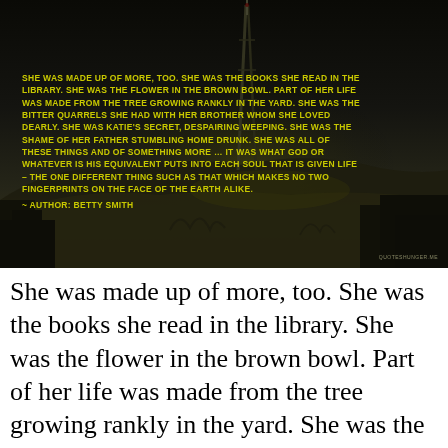[Figure (photo): Dark nighttime cityscape photo with rooftops, a communications tower, and distant hills. Yellow/olive text overlay displays a quote by Betty Smith.]
She was made up of more, too. She was the books she read in the library. She was the flower in the brown bowl. Part of her life was made from the tree growing rankly in the yard. She was the bitter quarrels she had with her brother whom she loved dearly. She